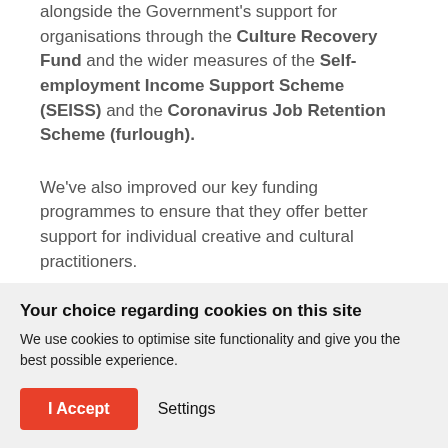alongside the Government's support for organisations through the Culture Recovery Fund and the wider measures of the Self-employment Income Support Scheme (SEISS) and the Coronavirus Job Retention Scheme (furlough).
We've also improved our key funding programmes to ensure that they offer better support for individual creative and cultural practitioners.
[Figure (photo): Partial photo showing the top of a person's head with dark hair against a light grey background]
Your choice regarding cookies on this site
We use cookies to optimise site functionality and give you the best possible experience.